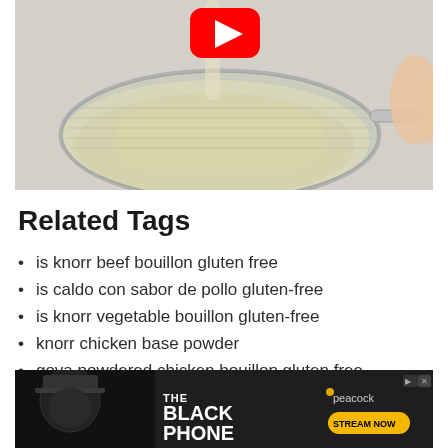[Figure (screenshot): YouTube video thumbnail showing a hand holding a metal strainer/sieve filled with white rice, with a red YouTube play button icon at the top center]
Related Tags
is knorr beef bouillon gluten free
is caldo con sabor de pollo gluten-free
is knorr vegetable bouillon gluten-free
knorr chicken base powder
goya powdered chicken bouillon gluten free
[Figure (screenshot): Advertisement banner for 'The Black Phone' on Peacock streaming service, showing a dark movie poster with a menacing figure and the Peacock logo with 'STREAM NOW' button]